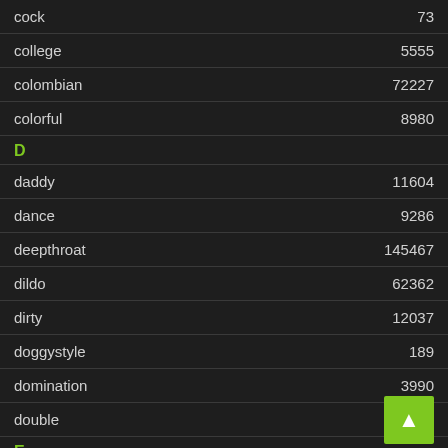cock 73
college 5555
colombian 72227
colorful 8980
D
daddy 11604
dance 9286
deepthroat 145467
dildo 62362
dirty 12037
doggystyle 189
domination 3990
double 108
E
ebony
erotic